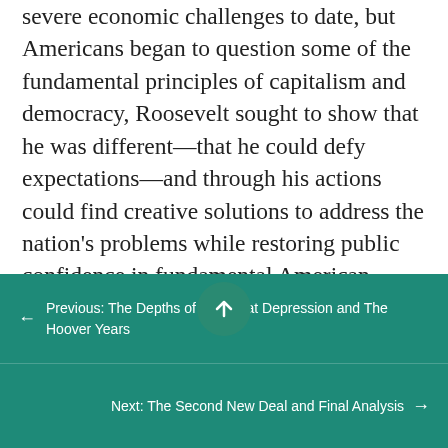severe economic challenges to date, but Americans began to question some of the fundamental principles of capitalism and democracy, Roosevelt sought to show that he was different—that he could defy expectations—and through his actions could find creative solutions to address the nation's problems while restoring public confidence in fundamental American values. As a result, he not only was the first presidential candidate to appear in person at a national political convention to accept his party's nomination but also flew there through terrible weather from
← Previous: The Depths of the Great Depression and The Hoover Years
Next: The Second New Deal and Final Analysis →